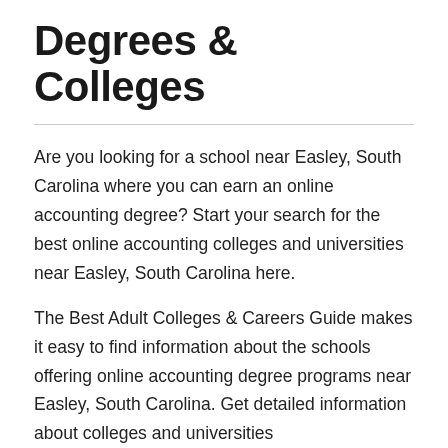Degrees & Colleges
Are you looking for a school near Easley, South Carolina where you can earn an online accounting degree? Start your search for the best online accounting colleges and universities near Easley, South Carolina here.
The Best Adult Colleges & Careers Guide makes it easy to find information about the schools offering online accounting degree programs near Easley, South Carolina. Get detailed information about colleges and universities